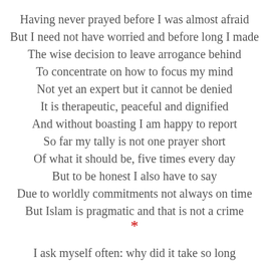Having never prayed before I was almost afraid
But I need not have worried and before long I made
The wise decision to leave arrogance behind
To concentrate on how to focus my mind
Not yet an expert but it cannot be denied
It is therapeutic, peaceful and dignified
And without boasting I am happy to report
So far my tally is not one prayer short
Of what it should be, five times every day
But to be honest I also have to say
Due to worldly commitments not always on time
But Islam is pragmatic and that is not a crime
*
I ask myself often: why did it take so long